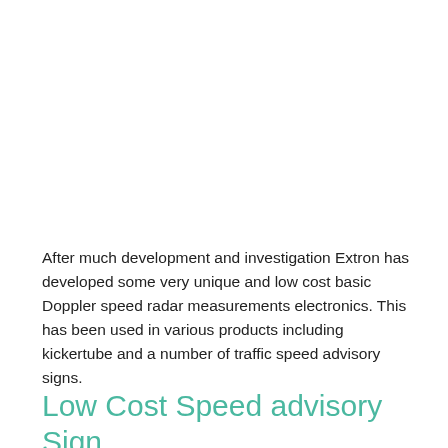After much development and investigation Extron has developed some very unique and low cost basic Doppler speed radar measurements electronics. This has been used in various products including kickertube and a number of traffic speed advisory signs.
Low Cost Speed advisory Sign...